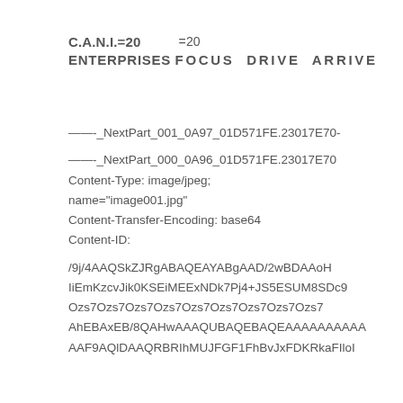C.A.N.I.=20
ENTERPRISES
=20
FOCUS  DRIVE  ARRIVE
——-_NextPart_001_0A97_01D571FE.23017E70-

——-_NextPart_000_0A96_01D571FE.23017E70
Content-Type: image/jpeg;
name="image001.jpg"
Content-Transfer-Encoding: base64
Content-ID:

/9j/4AAQSkZJRgABAQEAYABgAAD/2wBDAAoH
IiEmKzcvJik0KSEiMEExNDk7Pj4+JS5ESUM8SDc9
Ozs7Ozs7Ozs7Ozs7Ozs7Ozs7Ozs7Ozs7Ozs7
AhEBAxEB/8QAHwAAAQUBAQEBAQEAAAAAAAAAA
AAF9AQlDAAQRBRIhMUJFGF1FhBvJxFDKRkaFIloI